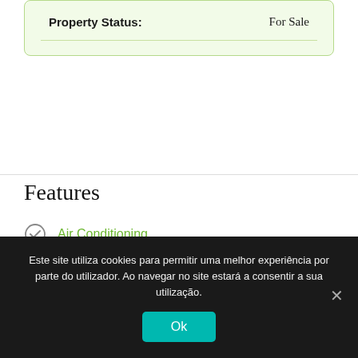| Property Status: | For Sale |
| --- | --- |
Features
Air Conditioning
Garage
Este site utiliza cookies para permitir uma melhor experiência por parte do utilizador. Ao navegar no site estará a consentir a sua utilização.